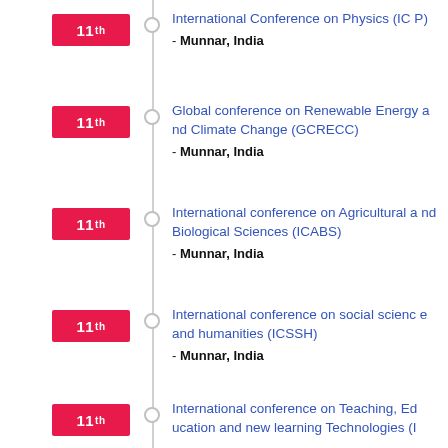11th - International Conference on Physics (ICP) - Munnar, India
11th - Global conference on Renewable Energy and Climate Change (GCRECC) - Munnar, India
11th - International conference on Agricultural and Biological Sciences (ICABS) - Munnar, India
11th - International conference on social science and humanities (ICSSH) - Munnar, India
11th - International conference on Teaching, Education and new learning Technologies (I...